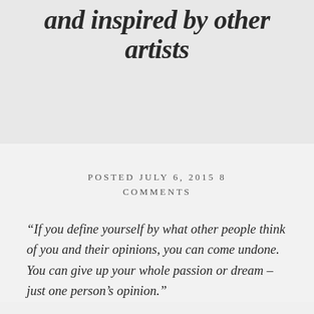and inspired by other artists
POSTED JULY 6, 2015 8 COMMENTS
“If you define yourself by what other people think of you and their opinions, you can come undone. You can give up your whole passion or dream – just one person’s opinion.”